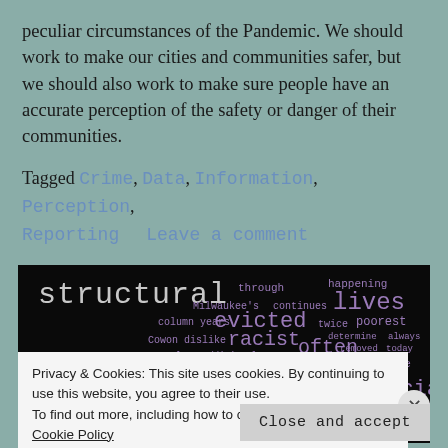peculiar circumstances of the Pandemic. We should work to make our cities and communities safer, but we should also work to make sure people have an accurate perception of the safety or danger of their communities.
Tagged Crime, Data, Information, Perception, Reporting    Leave a comment
[Figure (infographic): Word cloud on black background featuring words related to eviction, race, and structural inequality. Prominent words include: structural, evicted, racist, often, lives, people, racial, Poor, country, eviction, shaping, Desmond, especially, Milwaukee, poorest, outcomes, evidence, proportion, system, parts, additional, less, Cowon, dislike, determine, always, column, years, Milwaukee's, continues, through, happening, twice, removed, today, rational, beauty, see, wrote, downstream, impoverished, overwhelming]
Privacy & Cookies: This site uses cookies. By continuing to use this website, you agree to their use.
To find out more, including how to control cookies, see here: Cookie Policy
Close and accept